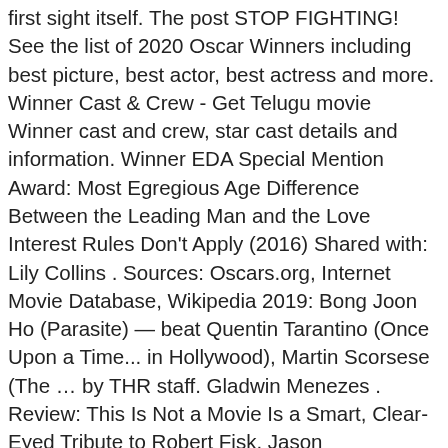first sight itself. The post STOP FIGHTING! See the list of 2020 Oscar Winners including best picture, best actor, best actress and more. Winner Cast & Crew - Get Telugu movie Winner cast and crew, star cast details and information. Winner EDA Special Mention Award: Most Egregious Age Difference Between the Leading Man and the Love Interest Rules Don't Apply (2016) Shared with: Lily Collins . Sources: Oscars.org, Internet Movie Database, Wikipedia 2019: Bong Joon Ho (Parasite) — beat Quentin Tarantino (Once Upon a Time... in Hollywood), Martin Scorsese (The … by THR staff. Gladwin Menezes . Review: This Is Not a Movie Is a Smart, Clear-Eyed Tribute to Robert Fisk. Jason Merritt/Getty Images. The 2019 Oscar winners are here! The movie will be shot in north Bengal and the makers aim to complete filming by February. 'Bigg Boss 4 Tamil' Winner Aari Arujunan Gears Up For New Film With Director Abin 'Bigg Boss 4 Tamil' winner Aari Arujunan is all set to step foot into the movies shortly after his win, read further ahead to know more about it . 1937) and Lily Collins (b